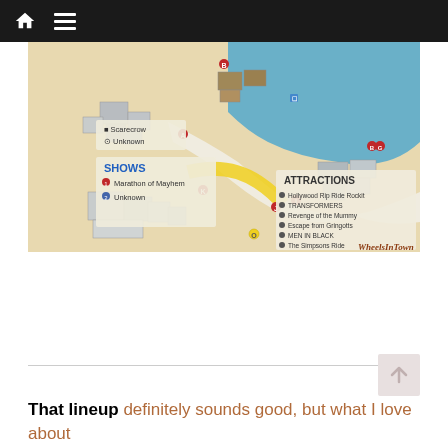Navigation bar with home and menu icons
[Figure (map): Theme park map showing Shows section (Marathon of Mayhem, Unknown) and Attractions section (Hollywood Rip Ride Rockit, TRANSFORMERS, Revenge of the Mummy, Escape from Gringotts, MEN IN BLACK, The Simpsons Ride). The map features labeled zones, pathways, and colored regions including water areas and highlighted paths.]
That lineup definitely sounds good, but what I love about